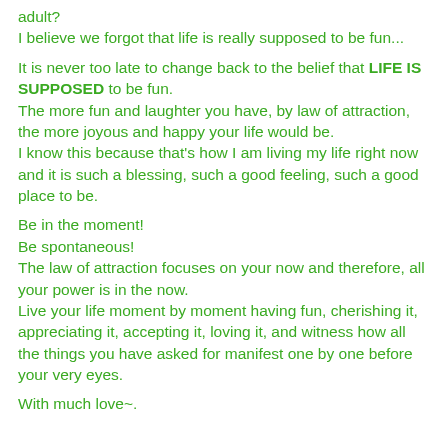adult?
I believe we forgot that life is really supposed to be fun...
It is never too late to change back to the belief that LIFE IS SUPPOSED to be fun.
The more fun and laughter you have, by law of attraction, the more joyous and happy your life would be.
I know this because that's how I am living my life right now and it is such a blessing, such a good feeling, such a good place to be.
Be in the moment!
Be spontaneous!
The law of attraction focuses on your now and therefore, all your power is in the now.
Live your life moment by moment having fun, cherishing it, appreciating it, accepting it, loving it, and witness how all the things you have asked for manifest one by one before your very eyes.
With much love~.